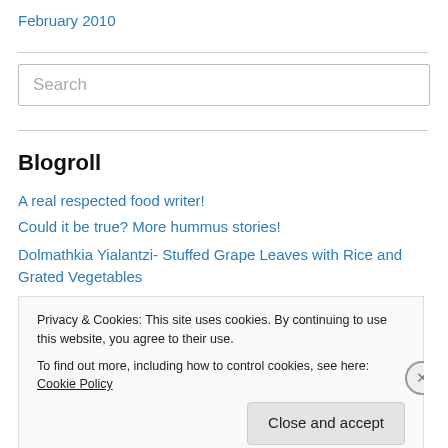February 2010
Search
Blogroll
A real respected food writer!
Could it be true? More hummus stories!
Dolmathkia Yialantzi- Stuffed Grape Leaves with Rice and Grated Vegetables
Privacy & Cookies: This site uses cookies. By continuing to use this website, you agree to their use. To find out more, including how to control cookies, see here: Cookie Policy
Close and accept